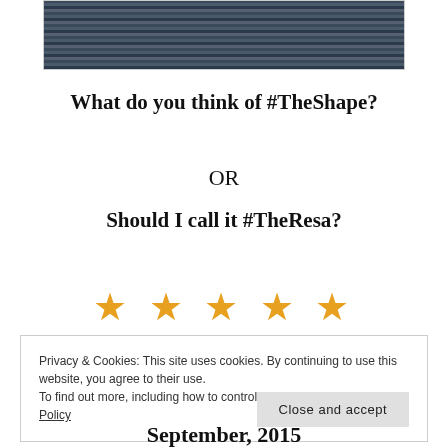[Figure (photo): Partial photo showing horizontal dark lines/texture, likely a wooden or metal surface, cropped at top of page]
What do you think of #TheShape?
OR
Should I call it #TheResa?
[Figure (other): Five gold/orange star rating symbols]
Privacy & Cookies: This site uses cookies. By continuing to use this website, you agree to their use.
To find out more, including how to control cookies, see here: Cookie Policy
[Close and accept button]
September, 2015